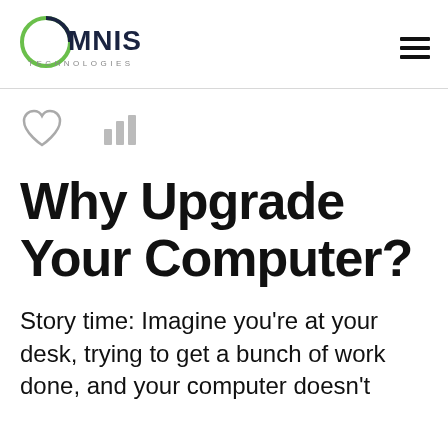OMNIS TECHNOLOGIES
[Figure (logo): Omnis Technologies logo with circular O graphic in green and dark blue, text OMNIS in dark blue and TECHNOLOGIES below]
[Figure (other): Heart icon outline and bar chart icon]
Why Upgrade Your Computer?
Story time: Imagine you're at your desk, trying to get a bunch of work done, and your computer doesn't